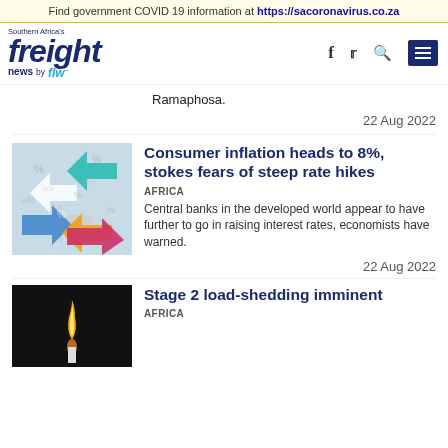Find government COVID 19 information at https://sacoronavirus.co.za
[Figure (logo): Southern Africa's Freight News by FLW logo with navigation icons]
Ramaphosa.
22 Aug 2022
[Figure (illustration): Colorful arrows showing percentage symbols on grey background, illustrating inflation/interest rate concept]
Consumer inflation heads to 8%, stokes fears of steep rate hikes
AFRICA
Central banks in the developed world appear to have further to go in raising interest rates, economists have warned.
22 Aug 2022
[Figure (photo): Candle flame on dark/black background]
Stage 2 load-shedding imminent
AFRICA